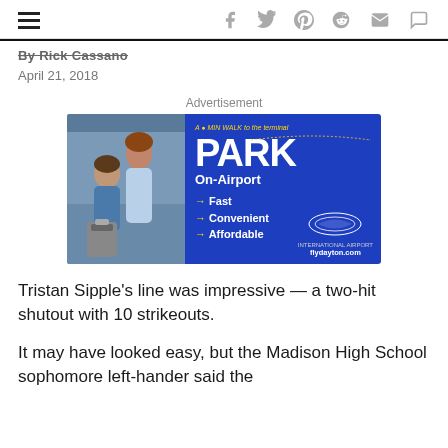Navigation and social sharing icons
By Rick Cassano
April 21, 2018
Advertisement
[Figure (other): Airport parking advertisement for Dayton International Airport showing two people with luggage and text: PARK On-Airport — Fast, Convenient, Affordable. flydayton.com]
Tristan Sipple's line was impressive — a two-hit shutout with 10 strikeouts.
It may have looked easy, but the Madison High School sophomore left-hander said the